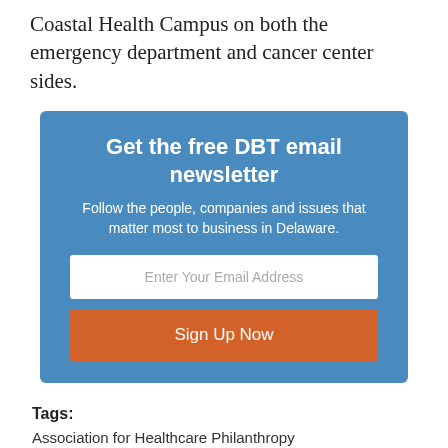Coastal Health Campus on both the emergency department and cancer center sides.
[Figure (infographic): Newsletter sign-up box with blue background. Title: 'Get the free DBT email newsletter'. Subtitle: 'Follow the people, companies and issues that matter most to business in Delaware.' Email input field and orange 'Sign Up Now' button.]
Tags:
Association for Healthcare Philanthropy
Beebe Medical foundation
PREVIOUS ARTICLE